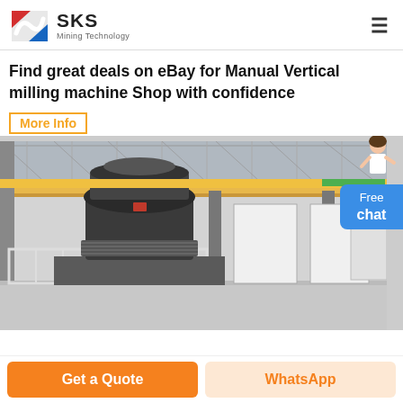SKS Mining Technology
Find great deals on eBay for Manual Vertical milling machine Shop with confidence
More Info
[Figure (photo): Industrial factory interior showing a large black cone crusher machine on an elevated metal platform with yellow overhead crane beams and a glass-panel roof structure]
Free chat
Get a Quote
WhatsApp